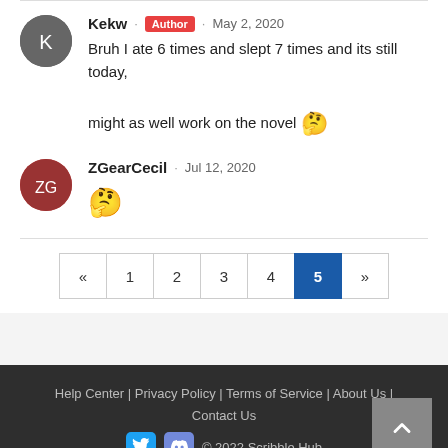Kekw · Author · May 2, 2020
Bruh I ate 6 times and slept 7 times and its still today, might as well work on the novel 🤔
ZGearCecil · Jul 12, 2020
🤔
« 1 2 3 4 5 »
Help Center | Privacy Policy | Terms of Service | About Us | Contact Us
© 2022 Scribble Hub